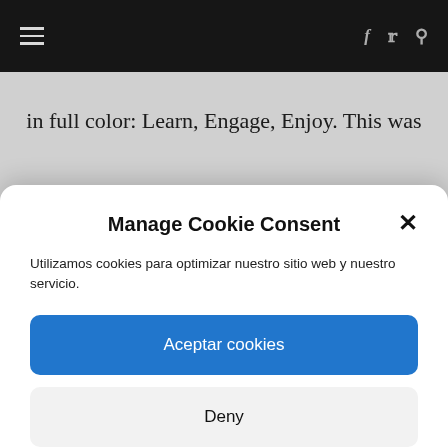Navigation bar with hamburger menu, facebook, twitter, search icons
in full color: Learn, Engage, Enjoy. This was
Manage Cookie Consent
Utilizamos cookies para optimizar nuestro sitio web y nuestro servicio.
Aceptar cookies
Deny
Ver preferencias
Politica de Cookies   Politica de Privacidad
[Figure (photo): Columns or cylindrical architectural elements, brown/tan colored]
BLOG